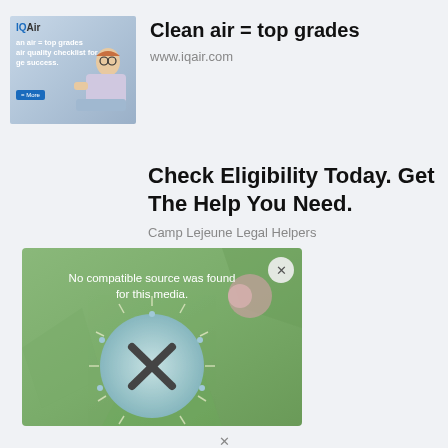[Figure (screenshot): IQAir advertisement image showing a person sitting with a laptop, with text 'an air = top grades', 'air quality checklist for ge success', and a blue 'More' button]
Clean air = top grades
www.iqair.com
Check Eligibility Today. Get The Help You Need.
Camp Lejeune Legal Helpers
[Figure (screenshot): Media player showing 'No compatible source was found for this media.' error with an X icon and a close button in the top right corner, green/teal background]
✕